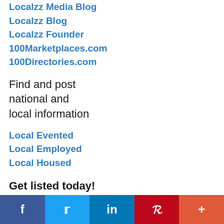Localzz Media Blog
Localzz Blog
Localzz Founder
100Marketplaces.com
100Directories.com
Find and post national and local information
Local Evented
Local Employed
Local Housed
Get listed today!
Free, Basic, and Featured listings
f  Twitter  in  P  +